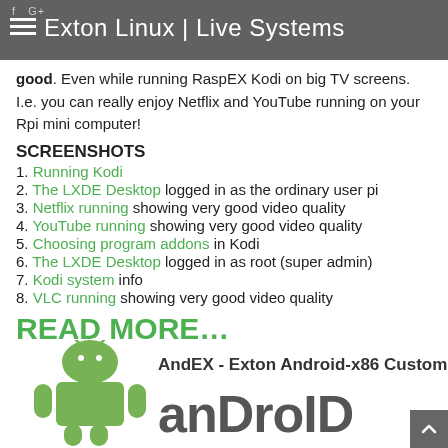Exton Linux | Live Systems
good. Even while running RaspEX Kodi on big TV screens. I.e. you can really enjoy Netflix and YouTube running on your Rpi mini computer!
SCREENSHOTS
1. Running Kodi
2. The LXDE Desktop logged in as the ordinary user pi
3. Netflix running showing very good video quality
4. YouTube running showing very good video quality
5. Choosing program addons in Kodi
6. The LXDE Desktop logged in as root (super admin)
7. Kodi system info
8. VLC running showing very good video quality
READ MORE...
Raspberry Pi is a trademark of Raspberry Pi Foundation
Kodi is a trademark of XBMC Foundation
[Figure (logo): AndEX - Exton Android-x86 Custom android logo banner]